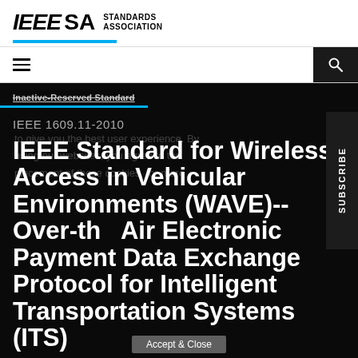IEEE SA STANDARDS ASSOCIATION
Inactive-Reserved Standard
IEEE 1609.11-2010
IEEE Standard for Wireless Access in Vehicular Environments (WAVE)-- Over-the-Air Electronic Payment Data Exchange Protocol for Intelligent Transportation Systems (ITS)